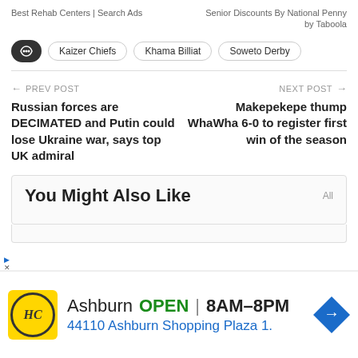Best Rehab Centers | Search Ads
Senior Discounts By National Penny
by Taboola
Kaizer Chiefs
Khama Billiat
Soweto Derby
← PREV POST
Russian forces are DECIMATED and Putin could lose Ukraine war, says top UK admiral
NEXT POST →
Makepekepe thump WhaWha 6-0 to register first win of the season
You Might Also Like
Ashburn  OPEN | 8AM–8PM
44110 Ashburn Shopping Plaza 1.